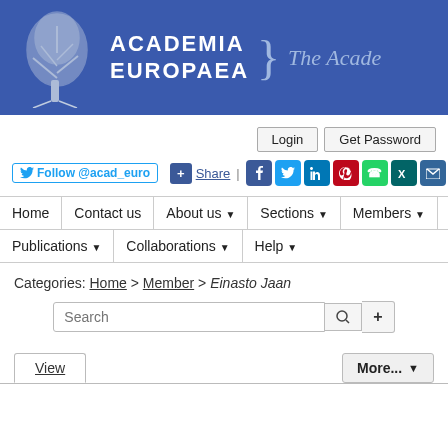[Figure (logo): Academia Europaea banner with tree logo and text 'ACADEMIA EUROPAEA } The Acade...' on blue background]
Login  Get Password
Follow @acad_euro  + Share | Facebook Twitter LinkedIn Pinterest WhatsApp XING Email social icons
Home | Contact us | About us ▼ | Sections ▼ | Members ▼ | Ac...
Publications ▼  Collaborations ▼  Help ▼
Categories: Home > Member > Einasto Jaan
Search
View   More... ▼